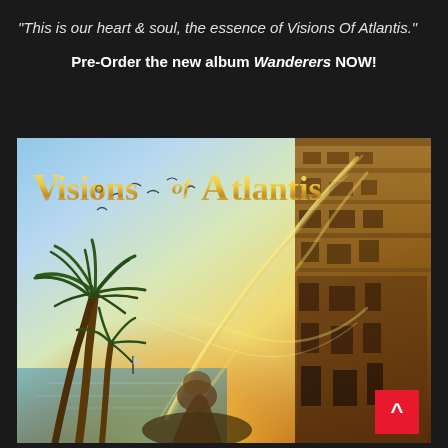"This is our heart & soul, the essence of Visions Of Atlantis."
Pre-Order the new album Wanderers NOW!
[Figure (illustration): Album cover art for 'Wanderers' by Visions Of Atlantis. Shows a fantasy scene with a bright golden light source, palm trees on the left, ancient ruins or a tower on the right, flying birds, energy ribbons/swirls, and the Visions Of Atlantis logo in gold text at the top. A red back-to-top arrow button is visible in the bottom-right corner.]